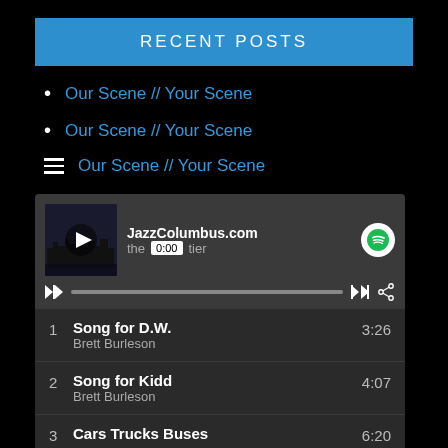RECENT POSTS
Our Scene // Your Scene
Our Scene // Your Scene
Our Scene // Your Scene
Our Scene // Your Scene
“No Justice, No peace”
[Figure (screenshot): Spotify embedded music player for JazzColumbus.com showing 'the frontier' playlist with album art, play controls, progress bar at 0:00, and track list including: 1. Song for D.W. - Brett Burleson 3:26, 2. Song for Kidd - Brett Burleson 4:07, 3. Cars Trucks Buses ... 6:20]